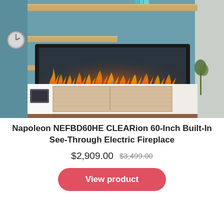[Figure (photo): A Napoleon CLEARion electric fireplace installed in a teal/blue accent wall, surrounded by floating wooden shelves with decorative items, above a modern wooden media console unit with a TV component. The fireplace shows realistic LED flames in orange and blue.]
Napoleon NEFBD60HE CLEARion 60-Inch Built-In See-Through Electric Fireplace
$2,909.00  $3,499.00
View product